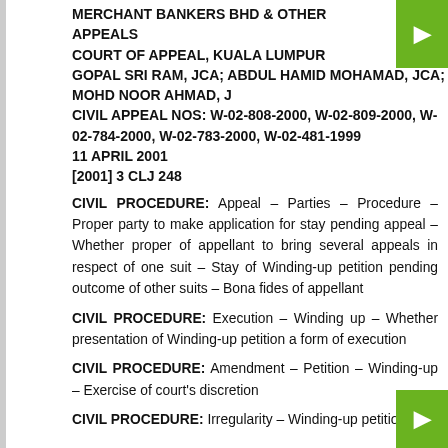MERCHANT BANKERS BHD & OTHER APPEALS
COURT OF APPEAL, KUALA LUMPUR
GOPAL SRI RAM, JCA; ABDUL HAMID MOHAMAD, JCA; MOHD NOOR AHMAD, J
CIVIL APPEAL NOS: W-02-808-2000, W-02-809-2000, W-02-784-2000, W-02-783-2000, W-02-481-1999
11 APRIL 2001
[2001] 3 CLJ 248
CIVIL PROCEDURE: Appeal – Parties – Procedure – Proper party to make application for stay pending appeal – Whether proper of appellant to bring several appeals in respect of one suit – Stay of Winding-up petition pending outcome of other suits – Bona fides of appellant
CIVIL PROCEDURE: Execution – Winding up – Whether presentation of Winding-up petition a form of execution
CIVIL PROCEDURE: Amendment – Petition – Winding-up – Exercise of court's discretion
CIVIL PROCEDURE: Irregularity – Winding-up petition